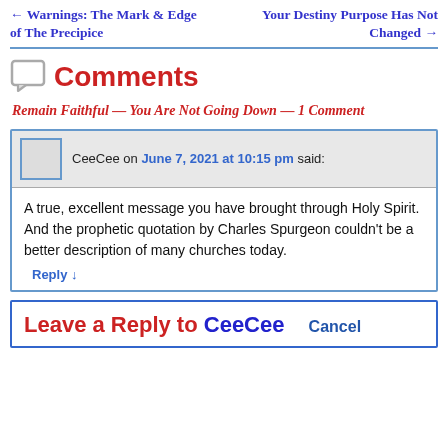← Warnings: The Mark & Edge of The Precipice
Your Destiny Purpose Has Not Changed →
Comments
Remain Faithful — You Are Not Going Down — 1 Comment
CeeCee on June 7, 2021 at 10:15 pm said:
A true, excellent message you have brought through Holy Spirit.
And the prophetic quotation by Charles Spurgeon couldn't be a better description of many churches today.
Reply ↓
Leave a Reply to CeeCee Cancel